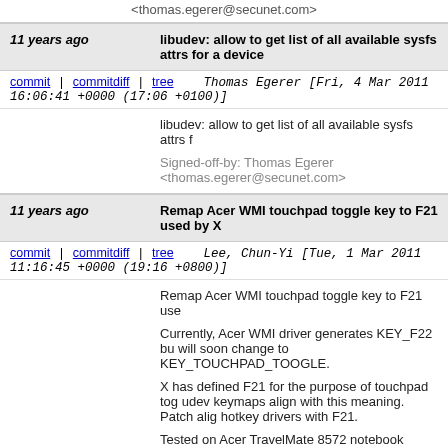<thomas.egerer@secunet.com>
11 years ago   libudev: allow to get list of all available sysfs attrs for a device
commit | commitdiff | tree    Thomas Egerer [Fri, 4 Mar 2011 16:06:41 +0000 (17:06 +0100)]
libudev: allow to get list of all available sysfs attrs f
Signed-off-by: Thomas Egerer <thomas.egerer@secunet.com>
11 years ago   Remap Acer WMI touchpad toggle key to F21 used by X
commit | commitdiff | tree    Lee, Chun-Yi [Tue, 1 Mar 2011 11:16:45 +0000 (19:16 +0800)]
Remap Acer WMI touchpad toggle key to F21 use
Currently, Acer WMI driver generates KEY_F22 bu will soon change to KEY_TOUCHPAD_TOOGLE.
X has defined F21 for the purpose of touchpad tog udev keymaps align with this meaning. Patch alig hotkey drivers with F21.
Tested on Acer TravelMate 8572 notebook using a wmi driver.